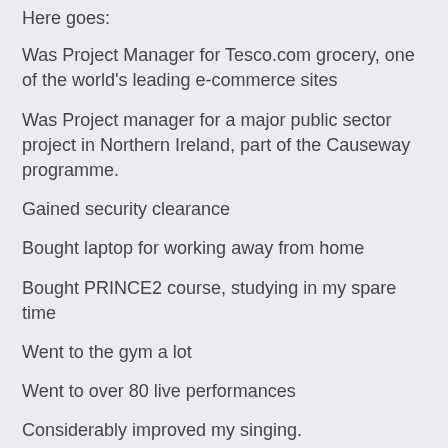Here goes:
Was Project Manager for Tesco.com grocery, one of the world's leading e-commerce sites
Was Project manager for a major public sector project in Northern Ireland, part of the Causeway programme.
Gained security clearance
Bought laptop for working away from home
Bought PRINCE2 course, studying in my spare time
Went to the gym a lot
Went to over 80 live performances
Considerably improved my singing.
Turnover of my company that I founded in 2001 is now